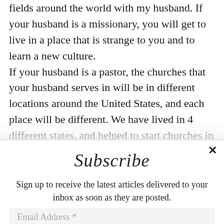fields around the world with my husband. If your husband is a missionary, you will get to live in a place that is strange to you and to learn a new culture. If your husband is a pastor, the churches that your husband serves in will be in different locations around the United States, and each place will be different. We have lived in 4 different states, and helped to start churches in 4 others. Each place was a different adventure, and we grew to love the area and the people. If your...
Subscribe
Sign up to receive the latest articles delivered to your inbox as soon as they are posted.